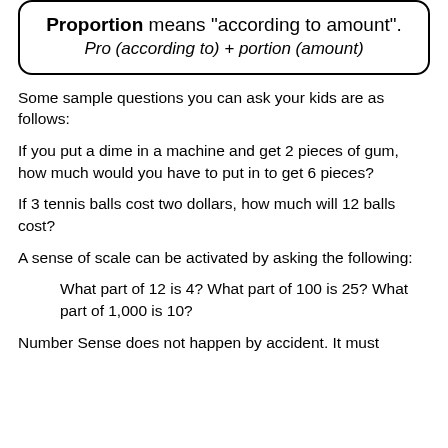Proportion means "according to amount". Pro (according to) + portion (amount)
Some sample questions you can ask your kids are as follows:
If you put a dime in a machine and get 2 pieces of gum, how much would you have to put in to get 6 pieces?
If 3 tennis balls cost two dollars, how much will 12 balls cost?
A sense of scale can be activated by asking the following:
What part of 12 is 4? What part of 100 is 25? What part of 1,000 is 10?
Number Sense does not happen by accident. It must